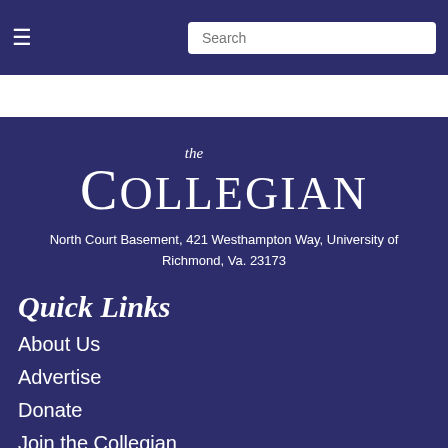≡  Search
[Figure (logo): The Collegian newspaper logo with 'the' in italic above 'COLLEGIAN' in large serif text]
North Court Basement, 421 Westhampton Way, University of Richmond, Va. 23173
Quick Links
About Us
Advertise
Donate
Join the Collegian
Archives